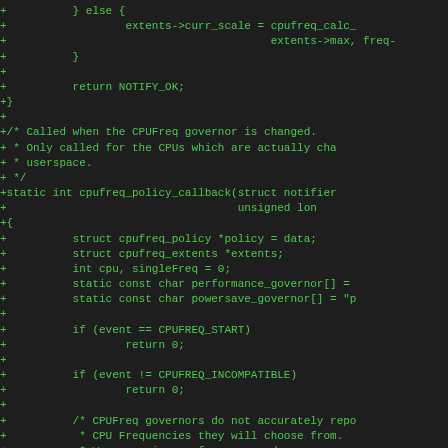Code diff showing C source code additions for CPUFreq policy callback function